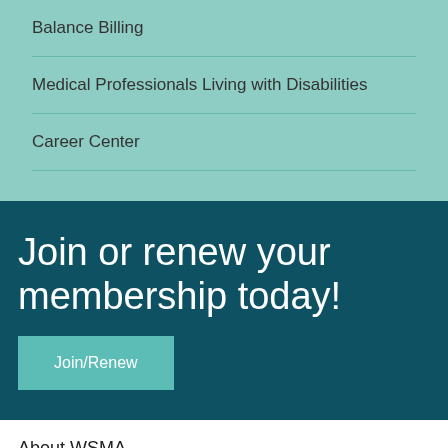Balance Billing
Medical Professionals Living with Disabilities
Career Center
Join or renew your membership today!
Join/Renew
About WSMA